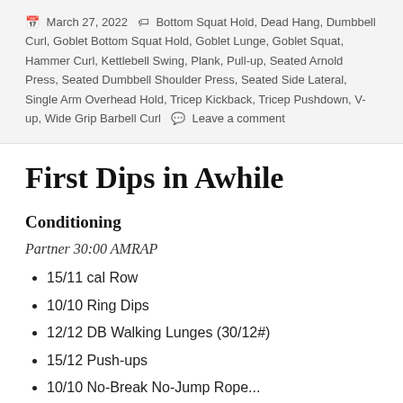March 27, 2022  Bottom Squat Hold, Dead Hang, Dumbbell Curl, Goblet Bottom Squat Hold, Goblet Lunge, Goblet Squat, Hammer Curl, Kettlebell Swing, Plank, Pull-up, Seated Arnold Press, Seated Dumbbell Shoulder Press, Seated Side Lateral, Single Arm Overhead Hold, Tricep Kickback, Tricep Pushdown, V-up, Wide Grip Barbell Curl   Leave a comment
First Dips in Awhile
Conditioning
Partner 30:00 AMRAP
15/11 cal Row
10/10 Ring Dips
12/12 DB Walking Lunges (30/12#)
15/12 Push-ups
10/10 No-Break No-Jump Rope...